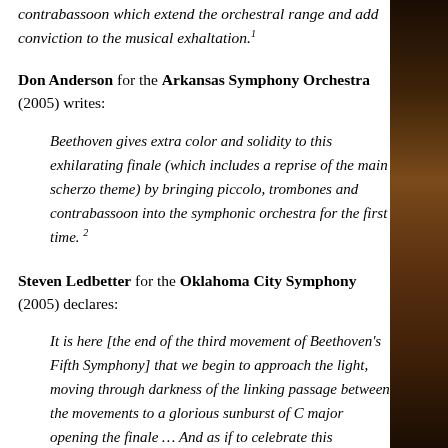contrabassoon which extend the orchestral range and add conviction to the musical exhaltation.¹
Don Anderson for the Arkansas Symphony Orchestra (2005) writes:
Beethoven gives extra color and solidity to this exhilarating finale (which includes a reprise of the main scherzo theme) by bringing piccolo, trombones and contrabassoon into the symphonic orchestra for the first time. ²
Steven Ledbetter for the Oklahoma City Symphony (2005) declares:
It is here [the end of the third movement of Beethoven's Fifth Symphony] that we begin to approach the light, moving through darkness of the linking passage between the movements to a glorious sunburst of C major opening the finale … And as if to celebrate this